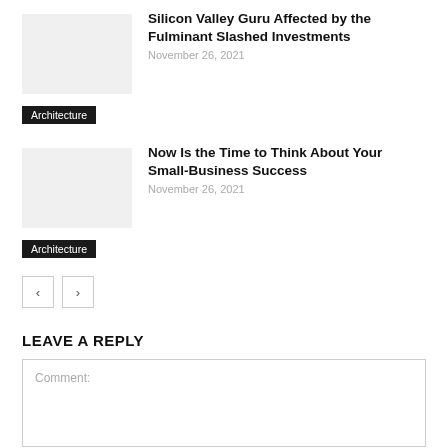Silicon Valley Guru Affected by the Fulminant Slashed Investments
November 26, 2021
Architecture
Now Is the Time to Think About Your Small-Business Success
November 26, 2021
Architecture
LEAVE A REPLY
Comment: